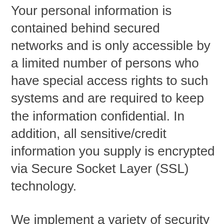Your personal information is contained behind secured networks and is only accessible by a limited number of persons who have special access rights to such systems and are required to keep the information confidential. In addition, all sensitive/credit information you supply is encrypted via Secure Socket Layer (SSL) technology.
We implement a variety of security measures when a user enters, submits, or accesses their information to maintain the safety of your personal information.
All transactions are processed through a gateway provider and are not stored or